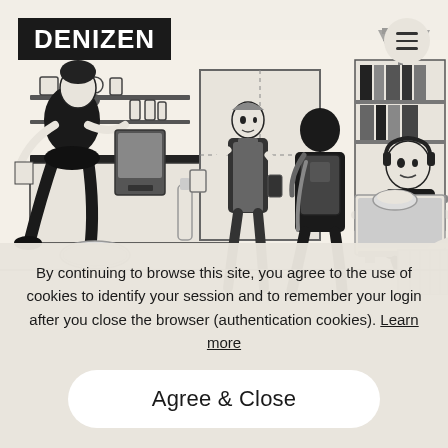[Figure (illustration): Black and white line illustration of a busy cafe/coworking space with multiple people - a person at a counter, a barista with an apron holding a drink, someone with a backpack, people working on laptops, and a person with headphones at a desk with bookshelves. The scene depicts a bustling urban coffee shop / workspace.]
DENIZEN
By continuing to browse this site, you agree to the use of cookies to identify your session and to remember your login after you close the browser (authentication cookies). Learn more
Agree & Close